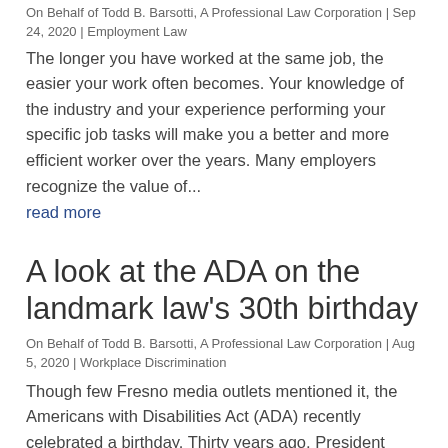On Behalf of Todd B. Barsotti, A Professional Law Corporation | Sep 24, 2020 | Employment Law
The longer you have worked at the same job, the easier your work often becomes. Your knowledge of the industry and your experience performing your specific job tasks will make you a better and more efficient worker over the years. Many employers recognize the value of...
read more
A look at the ADA on the landmark law's 30th birthday
On Behalf of Todd B. Barsotti, A Professional Law Corporation | Aug 5, 2020 | Workplace Discrimination
Though few Fresno media outlets mentioned it, the Americans with Disabilities Act (ADA) recently celebrated a birthday. Thirty years ago, President